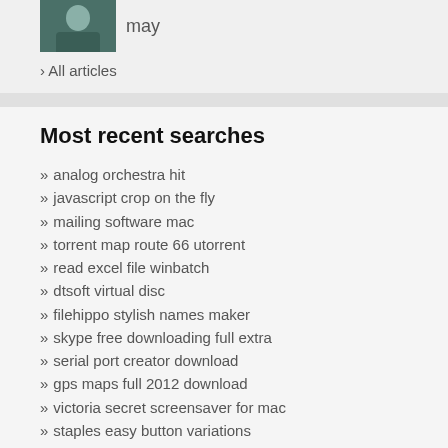[Figure (photo): Partial photo of a person, cropped, showing mostly dark teal/green top]
may
› All articles
Most recent searches
» analog orchestra hit
» javascript crop on the fly
» mailing software mac
» torrent map route 66 utorrent
» read excel file winbatch
» dtsoft virtual disc
» filehippo stylish names maker
» skype free downloading full extra
» serial port creator download
» gps maps full 2012 download
» victoria secret screensaver for mac
» staples easy button variations